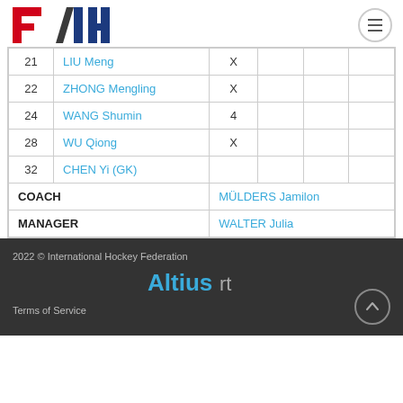[Figure (logo): FIH (International Hockey Federation) logo with red F, blue I and H letters]
| # | Name | Col3 | Col4 | Col5 | Col6 |
| --- | --- | --- | --- | --- | --- |
| 21 | LIU Meng | X |  |  |  |
| 22 | ZHONG Mengling | X |  |  |  |
| 24 | WANG Shumin | 4 |  |  |  |
| 28 | WU Qiong | X |  |  |  |
| 32 | CHEN Yi (GK) |  |  |  |  |
| COACH |  | MÜLDERS Jamilon |  |  |  |
| MANAGER |  | WALTER Julia |  |  |  |
2022 © International Hockey Federation
Altius rt
Terms of Service